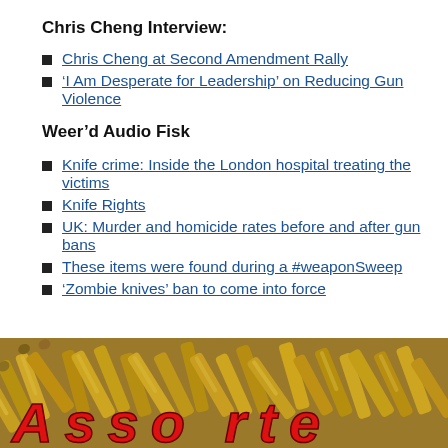Chris Cheng Interview:
Chris Cheng at Second Amendment Rally
‘I Am Desperate for Leadership’ on Reducing Gun Violence
Weer’d Audio Fisk
Knife crime: Inside the London hospital treating the victims
Knife Rights
UK: Murder and homicide rates before and after gun bans
These items were found during a #weaponSweep
‘Zombie knives’ ban to come into force
[Figure (photo): Photo of bullet/ammunition cartridges in a pile with large red bold italic text 'Assorted' overlaid at the bottom.]